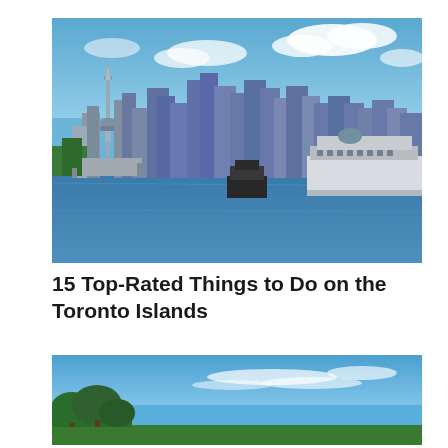[Figure (photo): View of Toronto skyline with CN Tower and skyscrapers from the water, featuring a large ferry boat on the right and a smaller vessel in the center, with blue sky and clouds in the background.]
15 Top-Rated Things to Do on the Toronto Islands
[Figure (photo): Partial view of Toronto Islands with blue sky, wispy clouds, and green trees visible at the bottom and left edges of the image.]